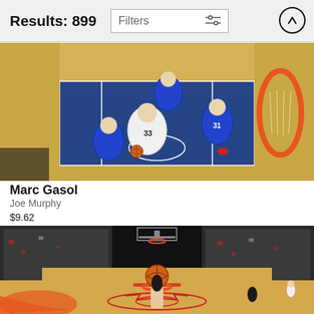Results: 899
Filters
[Figure (photo): Aerial view of NBA basketball game, player #33 Marc Gasol driving to the basket surrounded by Philadelphia 76ers players in blue uniforms, view from above the hoop.]
Marc Gasol
Joe Murphy
$9.62
[Figure (photo): Wide-angle view from behind the backboard of an NBA game, player holding a basketball near the rim, Houston Rockets arena with packed crowd and red court markings visible.]